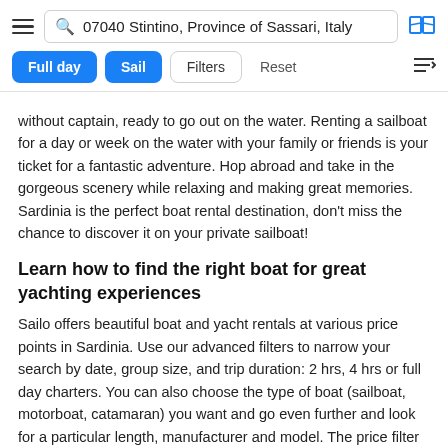07040 Stintino, Province of Sassari, Italy | Full day | Sail | Filters | Reset
without captain, ready to go out on the water. Renting a sailboat for a day or week on the water with your family or friends is your ticket for a fantastic adventure. Hop abroad and take in the gorgeous scenery while relaxing and making great memories. Sardinia is the perfect boat rental destination, don't miss the chance to discover it on your private sailboat!
Learn how to find the right boat for great yachting experiences
Sailo offers beautiful boat and yacht rentals at various price points in Sardinia. Use our advanced filters to narrow your search by date, group size, and trip duration: 2 hrs, 4 hrs or full day charters. You can also choose the type of boat (sailboat, motorboat, catamaran) you want and go even further and look for a particular length, manufacturer and model. The price filter will help you see the available boats within your budget and the crew option is useful when you want to see boats with a skipper/captain included or only bareboats. Do you see a boat that you would like to rent in Sardinia?